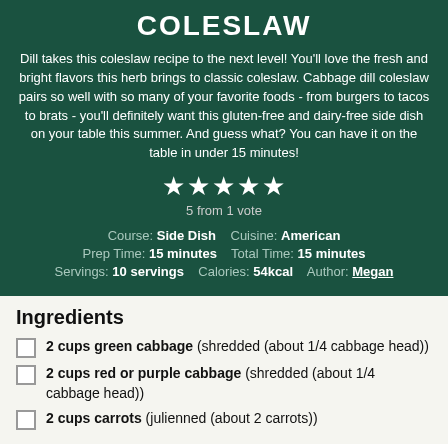COLESLAW
Dill takes this coleslaw recipe to the next level! You'll love the fresh and bright flavors this herb brings to classic coleslaw. Cabbage dill coleslaw pairs so well with so many of your favorite foods - from burgers to tacos to brats - you'll definitely want this gluten-free and dairy-free side dish on your table this summer. And guess what? You can have it on the table in under 15 minutes!
5 from 1 vote
Course: Side Dish   Cuisine: American
Prep Time: 15 minutes   Total Time: 15 minutes
Servings: 10 servings   Calories: 54kcal   Author: Megan
Ingredients
2 cups green cabbage (shredded (about 1/4 cabbage head))
2 cups red or purple cabbage (shredded (about 1/4 cabbage head))
2 cups carrots (julienned (about 2 carrots))